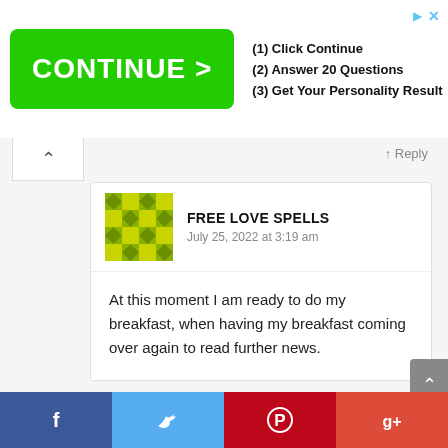[Figure (screenshot): Advertisement banner with green CONTINUE > button and steps: (1) Click Continue, (2) Answer 20 Questions, (3) Get Your Personality Result]
FREE LOVE SPELLS
July 25, 2022 at 3:19 am
At this moment I am ready to do my breakfast, when having my breakfast coming over again to read further news.
[Figure (infographic): Social share bar with Facebook, Twitter, Pinterest, Google+ buttons]